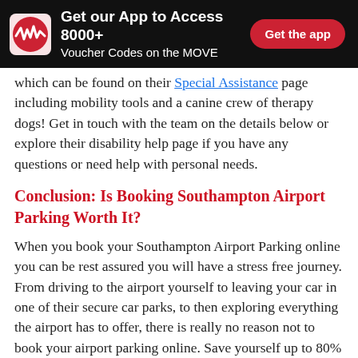Get our App to Access 8000+ Voucher Codes on the MOVE | Get the app
which can be found on their Special Assistance page including mobility tools and a canine crew of therapy dogs! Get in touch with the team on the details below or explore their disability help page if you have any questions or need help with personal needs.
Conclusion: Is Booking Southampton Airport Parking Worth It?
When you book your Southampton Airport Parking online you can be rest assured you will have a stress free journey. From driving to the airport yourself to leaving your car in one of their secure car parks, to then exploring everything the airport has to offer, there is really no reason not to book your airport parking online. Save yourself up to 80% when you book and using our Southampton airport parking